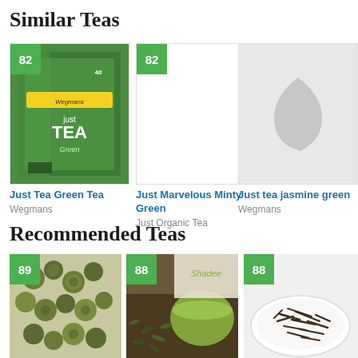Similar Teas
[Figure (photo): Green tea box product photo - Just Tea Green Tea by Wegmans, score 82]
Just Tea Green Tea
Wegmans
[Figure (other): Score badge 82 with text card for Just Marvelous Minty Green by Just Organic Tea]
Just Marvelous Minty Green
Just Organic Tea
[Figure (photo): Gray placeholder image with leaf icon for Just tea jasmine green by Wegmans, no score shown]
Just tea jasmine green
Wegmans
Recommended Teas
[Figure (photo): Photo of rolled jasmine green tea pearls, score 89]
[Figure (photo): Photo of loose green tea leaves with cup and Shadee branding, score 88]
[Figure (photo): Photo of loose dark tea on white plate, score 88]